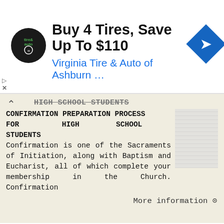[Figure (other): Advertisement banner: Buy 4 Tires, Save Up To $110 from Virginia Tire & Auto of Ashburn with logo and navigation arrow icon]
HIGH SCHOOL STUDENTS
CONFIRMATION PREPARATION PROCESS FOR HIGH SCHOOL STUDENTS
Confirmation is one of the Sacraments of Initiation, along with Baptism and Eucharist, all of which complete your membership in the Church. Confirmation
More information →
PERSONAL INVENTORY SPIRITUAL INVENTORY
SoulFire Summer Student Missions Experience Return completed applications by March 20 to: Northeast Atlantic Foursquare NextGen Ministry Lesli